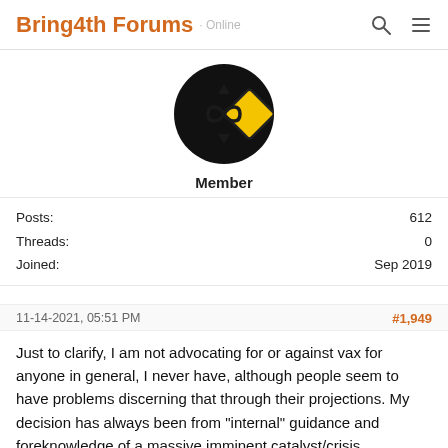Bring4th Forums
[Figure (photo): Circular avatar image with black background showing a yellow diamond road sign with infinity symbol, up arrow, and down arrow]
Member
Posts: 612
Threads: 0
Joined: Sep 2019
11-14-2021, 05:51 PM
#1,949
Just to clarify, I am not advocating for or against vax for anyone in general, I never have, although people seem to have problems discerning that through their projections. My decision has always been from "internal" guidance and foreknowledge of a massive imminent catalyst/crisis.